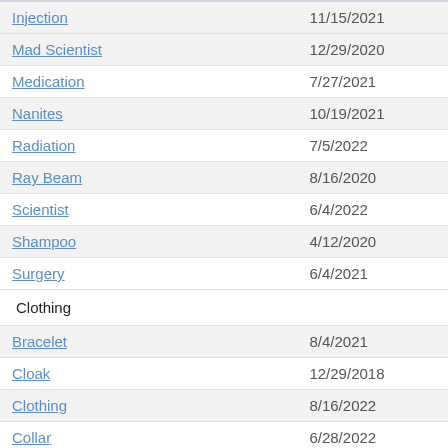| Name | Date |
| --- | --- |
| Injection | 11/15/2021 |
| Mad Scientist | 12/29/2020 |
| Medication | 7/27/2021 |
| Nanites | 10/19/2021 |
| Radiation | 7/5/2022 |
| Ray Beam | 8/16/2020 |
| Scientist | 6/4/2022 |
| Shampoo | 4/12/2020 |
| Surgery | 6/4/2021 |
| Clothing |  |
| Bracelet | 8/4/2021 |
| Cloak | 12/29/2018 |
| Clothing | 8/16/2022 |
| Collar | 6/28/2022 |
| Corset | 5/19/2022 |
| Costume | 8/1/2022 |
| Leash | 8/15/2021 |
| Leather | 12/13/2020 |